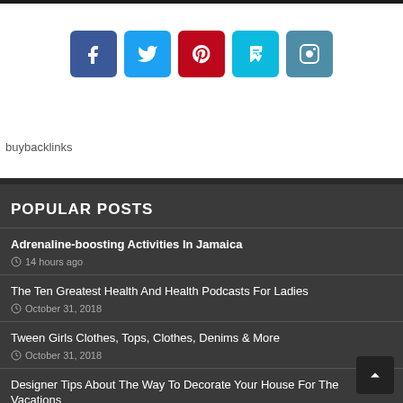[Figure (infographic): Social media share icons: Facebook (blue), Twitter (light blue), Pinterest (red), Foursquare (cyan), Instagram (blue-grey)]
buybacklinks
POPULAR POSTS
Adrenaline-boosting Activities In Jamaica
14 hours ago
The Ten Greatest Health And Health Podcasts For Ladies
October 31, 2018
Tween Girls Clothes, Tops, Clothes, Denims & More
October 31, 2018
Designer Tips About The Way To Decorate Your House For The Vacations